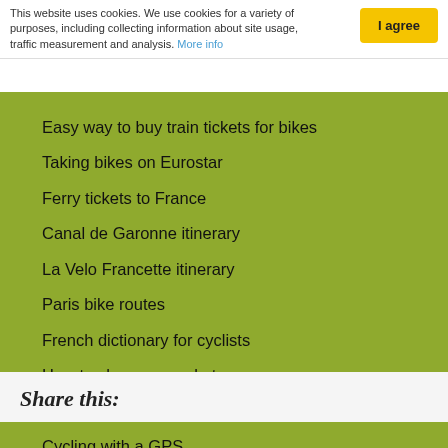This website uses cookies. We use cookies for a variety of purposes, including collecting information about site usage, traffic measurement and analysis. More info
Easy way to buy train tickets for bikes
Taking bikes on Eurostar
Ferry tickets to France
Canal de Garonne itinerary
La Velo Francette itinerary
Paris bike routes
French dictionary for cyclists
How to choose a cycle tour
How to choose a bike route
Cycling with a GPS
MTB in France
Cycling for charity
Share this: